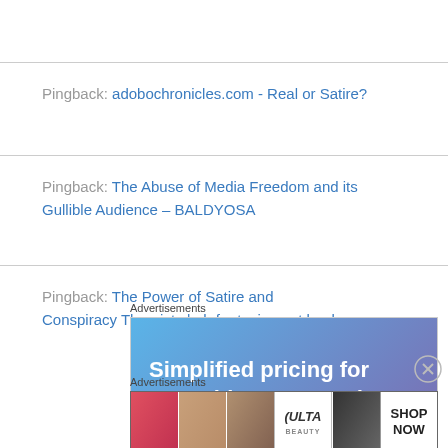Pingback: adobochronicles.com - Real or Satire?
Pingback: The Abuse of Media Freedom and its Gullible Audience – BALDYOSA
Pingback: The Power of Satire and Conspiracy Theorists | oh for typing out loud
[Figure (other): Advertisement banner: 'Simplified pricing for everything you need.' on blue-purple gradient background]
[Figure (other): Ulta Beauty advertisement banner with makeup/beauty images and 'SHOP NOW' button]